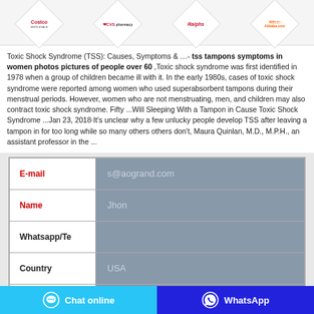[Figure (logo): Four brand logos in diamond shapes: Costco, CVS pharmacy, Ralphs, Alibaba.com]
Toxic Shock Syndrome (TSS): Causes, Symptoms & …- tss tampons symptoms in women photos pictures of people over 60 ,Toxic shock syndrome was first identified in 1978 when a group of children became ill with it. In the early 1980s, cases of toxic shock syndrome were reported among women who used superabsorbent tampons during their menstrual periods. However, women who are not menstruating, men, and children may also contract toxic shock syndrome. Fifty ...Will Sleeping With a Tampon in Cause Toxic Shock Syndrome ...Jan 23, 2018·It's unclear why a few unlucky people develop TSS after leaving a tampon in for too long while so many others others don't, Maura Quinlan, M.D., M.P.H., an assistant professor in the ...
| Field | Value |
| --- | --- |
| E-mail | s@aogrand.com |
| Name | Jhon |
| Whatsapp/Te |  |
| Country | USA |
|  |  |
Chat online   WhatsApp